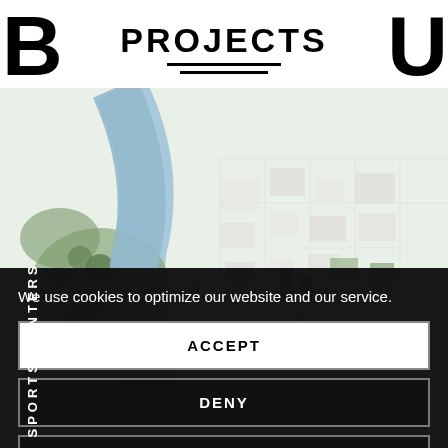B  PROJECTS  U
[Figure (map): Aerial/plan view map of an urban area with a river, parks, green spaces, and city blocks. Shown from above with trees, paths, and buildings rendered in plan view illustration style.]
SPORTS CENTERS
We use cookies to optimize our website and our service.
ACCEPT
DENY
PREFERENCES